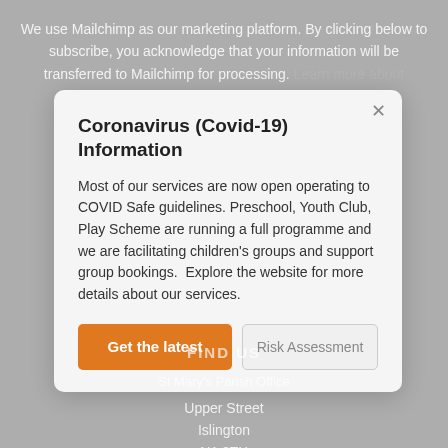We use Mailchimp as our marketing platform. By clicking below to subscribe, you acknowledge that your information will be transferred to Mailchimp for processing. Learn more about Mailchimp's privacy practices here.
Coronavirus (Covid-19) Information
Most of our services are now open operating to COVID Safe guidelines. Preschool, Youth Club, Play Scheme are running a full programme and we are facilitating children's groups and support group bookings.  Explore the website for more details about our services.
Get the latest
Risk Assessment
FIND US
St Mary's Parish Office
Upper Street
Islington
N1 2TX